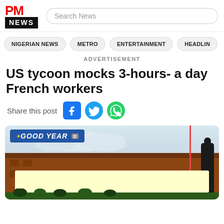PM NEWS
Search News
NIGERIAN NEWS
METRO
ENTERTAINMENT
HEADLIN
ADVERTISEMENT
US tycoon mocks 3-hours- a day French workers
Share this post
[Figure (photo): Goodyear building exterior with blue Goodyear sign, brick facade, overcast sky, a person in dark clothing at right, and a yellow banner overlay at bottom.]